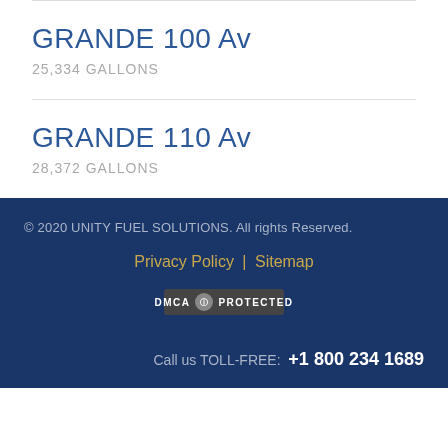GRANDE 100 Av
25,334 GALLONS
GRANDE 110 Av
28,372 GALLONS
© 2020 UNITY FUEL SOLUTIONS. All rights Reserved.
Privacy Policy | Sitemap
DMCA PROTECTED
Call us TOLL-FREE: +1 800 234 1689